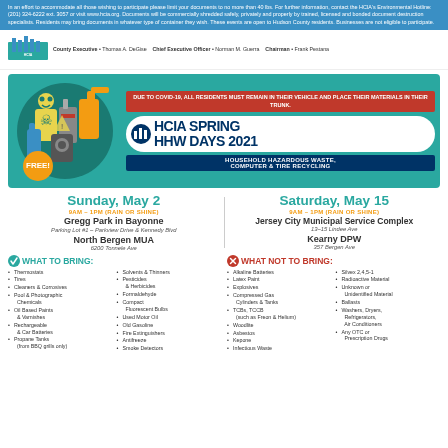In an effort to accommodate all those wishing to participate please limit your documents to no more than 40 lbs. For further information, contact the HCIA's Environmental Hotline: (201) 324-6222 ext. 3057 or visit www.hcia.org. Documents will be commercially shredded safely, privately and properly by trained, licensed and bonded document destruction specialists. Residents may bring documents in whatever type of container they wish. These events are open to Hudson County residents. Businesses are not eligible to participate.
County Executive • Thomas A. DeGise   Chief Executive Officer • Norman M. Guerra   Chairman • Frank Pestana
[Figure (infographic): HCIA Spring HHW Days 2021 promotional banner with hazardous materials illustration, FREE badge, COVID-19 notice, and event details for Household Hazardous Waste, Computer & Tire Recycling]
Sunday, May 2
9AM – 1PM (RAIN OR SHINE)
Gregg Park in Bayonne
Parking Lot #1 – Parkview Drive & Kennedy Blvd
North Bergen MUA
6200 Tonnele Ave
Saturday, May 15
9AM – 1PM (RAIN OR SHINE)
Jersey City Municipal Service Complex
13–15 Lindee Ave
Kearny DPW
357 Bergen Ave
WHAT TO BRING: Thermostats, Tires, Cleaners & Corrosives, Pool & Photographic Chemicals, Oil Based Paints & Varnishes, Rechargeable & Car Batteries, Propane Tanks (from BBQ grills only), Solvents & Thinners, Pesticides & Herbicides, Formaldehyde, Compact Fluorescent Bulbs, Used Motor Oil, Old Gasoline, Fire Extinguishers, Antifreeze, Smoke Detectors
WHAT NOT TO BRING: Alkaline Batteries, Latex Paint, Explosives, Compressed Gas Cylinders & Tanks, TCBs, TCCB (such as Freon & Helium), Woodlite, Asbestos, Kepone, Infectious Waste, Silvex 2,4,5-1, Radioactive Material, Unknown or Unidentified Material, Ballasts, Washers, Dryers, Refrigerators, Air Conditioners, Any OTC or Prescription Drugs